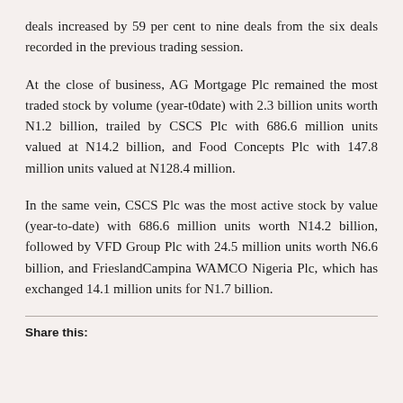deals increased by 59 per cent to nine deals from the six deals recorded in the previous trading session.
At the close of business, AG Mortgage Plc remained the most traded stock by volume (year-t0date) with 2.3 billion units worth N1.2 billion, trailed by CSCS Plc with 686.6 million units valued at N14.2 billion, and Food Concepts Plc with 147.8 million units valued at N128.4 million.
In the same vein, CSCS Plc was the most active stock by value (year-to-date) with 686.6 million units worth N14.2 billion, followed by VFD Group Plc with 24.5 million units worth N6.6 billion, and FrieslandCampina WAMCO Nigeria Plc, which has exchanged 14.1 million units for N1.7 billion.
Share this: